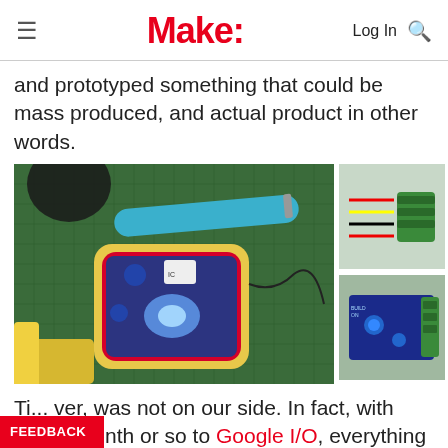Make:  Log In
and prototyped something that could be mass produced, and actual product in other words.
[Figure (photo): Electronics prototype on a green cutting mat: a yellow 3D-printed enclosure containing a blue-lit Arduino/microcontroller board with sensors and components, alongside a soldering iron and yellow tools. To the right, two smaller photos show a green connector with wires and a blue circuit board module.]
Ti... ver, was not on our side. In fact, with only a month or so to Google I/O, everything about the